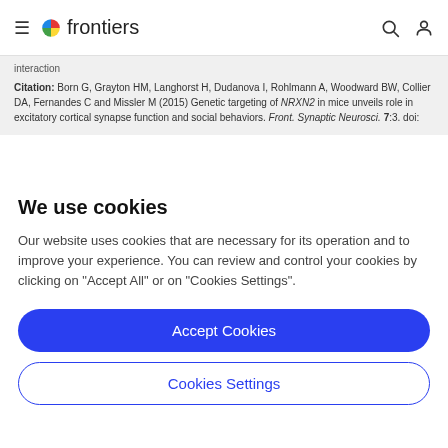frontiers
interaction
Citation: Born G, Grayton HM, Langhorst H, Dudanova I, Rohlmann A, Woodward BW, Collier DA, Fernandes C and Missler M (2015) Genetic targeting of NRXN2 in mice unveils role in excitatory cortical synapse function and social behaviors. Front. Synaptic Neurosci. 7:3. doi:
We use cookies
Our website uses cookies that are necessary for its operation and to improve your experience. You can review and control your cookies by clicking on "Accept All" or on "Cookies Settings".
Accept Cookies
Cookies Settings